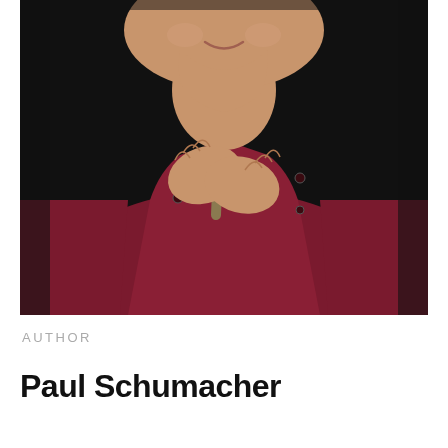[Figure (photo): Portrait photo of a man in a dark crimson/maroon button-up shirt, hands clasped under his chin, smiling, against a dark background.]
AUTHOR
Paul Schumacher